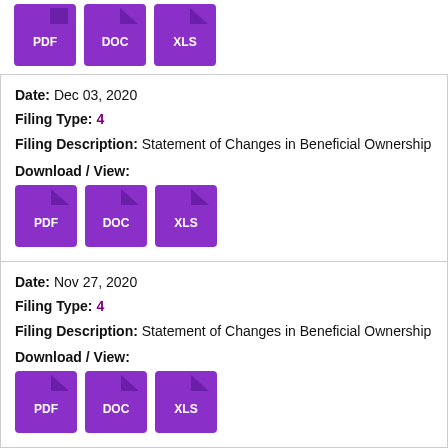[Figure (other): Download/View buttons: PDF, DOC, XLS (top of page, partial section)]
Date: Dec 03, 2020
Filing Type: 4
Filing Description: Statement of Changes in Beneficial Ownership
Download / View:
[Figure (other): Download/View buttons: PDF, DOC, XLS]
Date: Nov 27, 2020
Filing Type: 4
Filing Description: Statement of Changes in Beneficial Ownership
Download / View:
[Figure (other): Download/View buttons: PDF, DOC, XLS]
Date: Nov 16, 2020